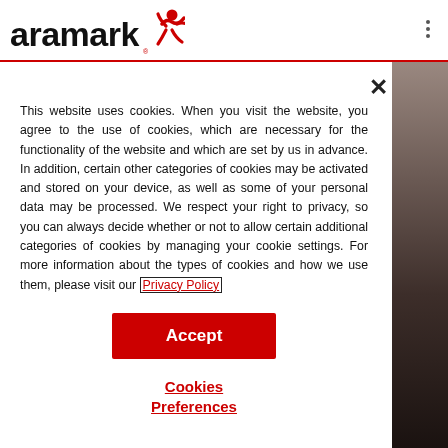aramark
[Figure (illustration): Aramark logo with stylized red figure leaping to the right of the 'aramark' wordmark]
This website uses cookies. When you visit the website, you agree to the use of cookies, which are necessary for the functionality of the website and which are set by us in advance. In addition, certain other categories of cookies may be activated and stored on your device, as well as some of your personal data may be processed. We respect your right to privacy, so you can always decide whether or not to allow certain additional categories of cookies by managing your cookie settings. For more information about the types of cookies and how we use them, please visit our Privacy Policy
Accept
Cookies Preferences